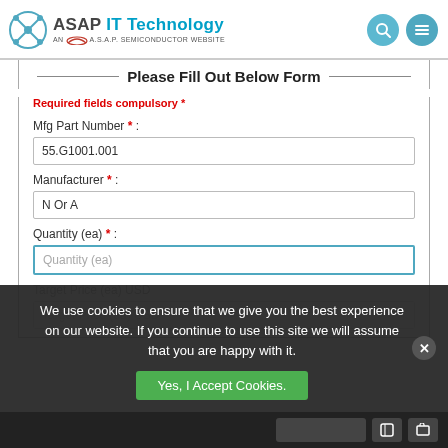ASAP IT Technology — AN A.S.A.P. SEMICONDUCTOR WEBSITE
Please Fill Out Below Form
Required fields compulsory *
Mfg Part Number * :
55.G1001.001
Manufacturer * :
N Or A
Quantity (ea) * :
Quantity (ea)
Target Price (ea) USD
We use cookies to ensure that we give you the best experience on our website. If you continue to use this site we will assume that you are happy with it.
Yes, I Accept Cookies.